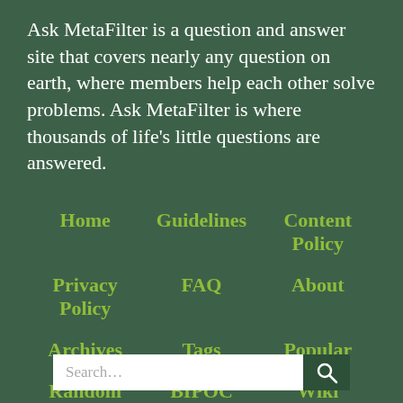Ask MetaFilter is a question and answer site that covers nearly any question on earth, where members help each other solve problems. Ask MetaFilter is where thousands of life's little questions are answered.
Home
Guidelines
Content Policy
Privacy Policy
FAQ
About
Archives
Tags
Popular
Random
BIPOC Board
Wiki
Search
Chat
Labs